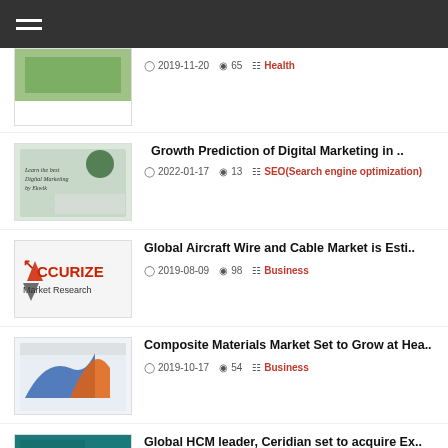2019-11-20 | 65 | Health
Growth Prediction of Digital Marketing in .. | 2022-01-17 | 13 | SEO(Search engine optimization)
Global Aircraft Wire and Cable Market is Esti.. | 2019-08-09 | 98 | Business
Composite Materials Market Set to Grow at Hea.. | 2019-10-17 | 54 | Business
Global HCM leader, Ceridian set to acquire Ex.. | 2020-06-11 | 36 | Business